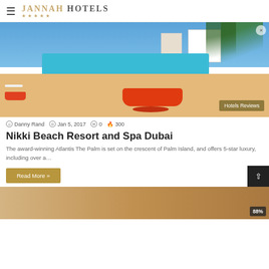JANNAH HOTELS ★★★★★
[Figure (photo): Hotel resort pool area with orange loungers, red/orange table, white buildings, palm trees, and blue sky. 'Hotels Reviews' badge in bottom right corner.]
Danny Rand  Jan 5, 2017  0  300
Nikki Beach Resort and Spa Dubai
The award-winning Atlantis The Palm is set on the crescent of Palm Island, and offers 5-star luxury, including over a…
Read More »
[Figure (photo): Bottom portion of another hotel article preview image showing sandy/warm tones with '88%' badge visible in bottom right corner.]